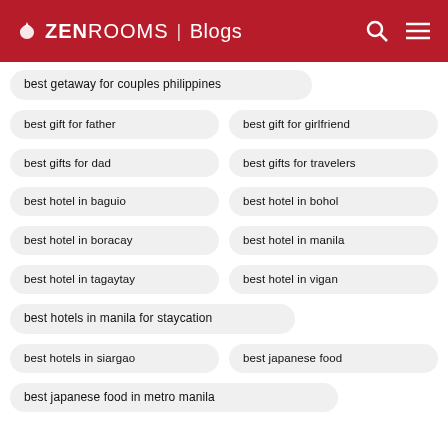ZEN ROOMS | Blogs
best getaway for couples philippines
best gift for father
best gift for girlfriend
best gifts for dad
best gifts for travelers
best hotel in baguio
best hotel in bohol
best hotel in boracay
best hotel in manila
best hotel in tagaytay
best hotel in vigan
best hotels in manila for staycation
best hotels in siargao
best japanese food
best japanese food in metro manila